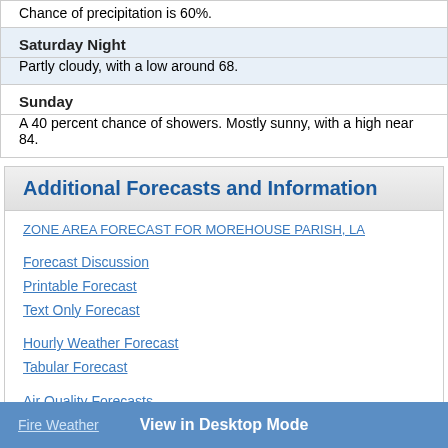Chance of precipitation is 60%.
Saturday Night
Partly cloudy, with a low around 68.
Sunday
A 40 percent chance of showers. Mostly sunny, with a high near 84.
Additional Forecasts and Information
ZONE AREA FORECAST FOR MOREHOUSE PARISH, LA
Forecast Discussion
Printable Forecast
Text Only Forecast
Hourly Weather Forecast
Tabular Forecast
Air Quality Forecasts
International System of Units
Interactive Forecast Map
Watches/Warnings
Local Climatology
Aviation Weather
Fire Weather   View in Desktop Mode